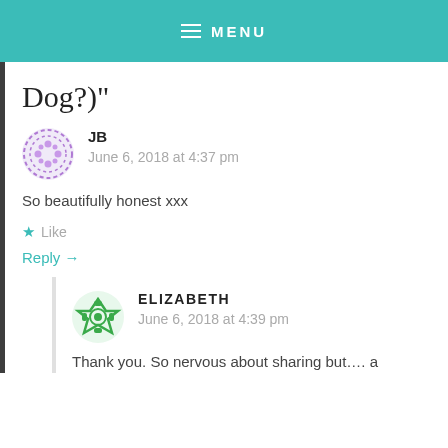MENU
Dog?)"
JB
June 6, 2018 at 4:37 pm

So beautifully honest xxx

★ Like

Reply →
ELIZABETH
June 6, 2018 at 4:39 pm

Thank you. So nervous about sharing but…. a